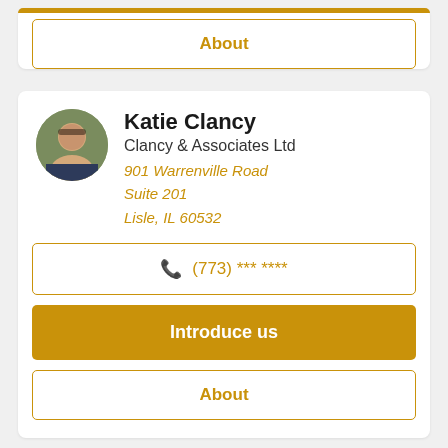About
Katie Clancy
Clancy & Associates Ltd
901 Warrenville Road
Suite 201
Lisle, IL 60532
(773) *** ****
Introduce us
About
Alexandra Reic, MBA, CFP®